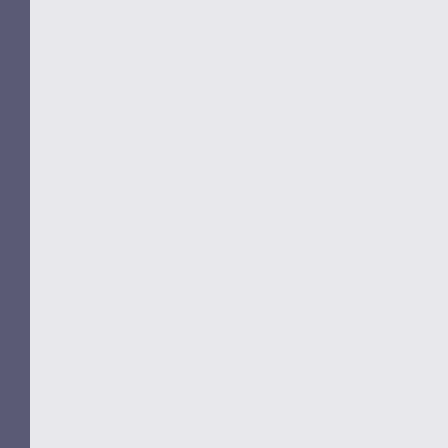You can stay until 6 pm with any ticke...
David Ewins Says:
September 8th, 2019 at 6:30 am
Ariane A very nice write up of the b... removed soon. David
Carol Says:
October 23rd, 2019 at 9:56 am
Thank you for sharing your photograp... The tibouchina is beautiful … Wish it...
Ariane Says:
November 3rd, 2019 at 1:50 pm
Thank you for your visit, Carol! I wish...
Michael Aikey Says:
November 3rd, 2019 at 10:22 pm
I'm researching the peonies in Mone... Giverny last April. Would you be ab... currently being grown at Giverny? Th...